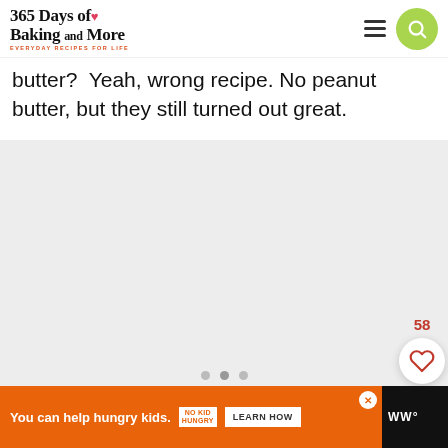365 Days of Baking and More — EVERYDAY RECIPES FOR LIFE
butter?  Yeah, wrong recipe. No peanut butter, but they still turned out great.
[Figure (photo): Image placeholder area with three dots at bottom center indicating a slideshow or loading image]
You can help hungry kids. NO KID HUNGRY LEARN HOW